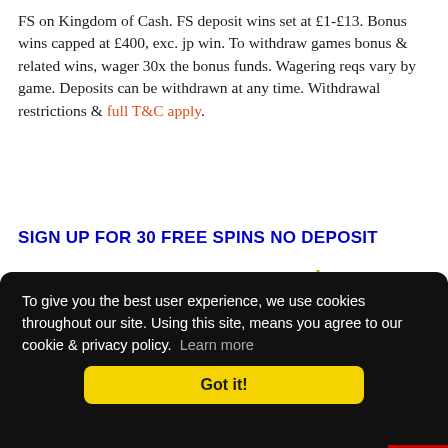FS on Kingdom of Cash. FS deposit wins set at £1-£13. Bonus wins capped at £400, exc. jp win. To withdraw games bonus & related wins, wager 30x the bonus funds. Wagering reqs vary by game. Deposits can be withdrawn at any time. Withdrawal restrictions & full T&C apply.
SIGN UP FOR 30 FREE SPINS NO DEPOSIT
[Figure (screenshot): Partial view of a casino/gaming website graphic showing teal circle and gold decorative elements]
To give you the best user experience, we use cookies throughout our site. Using this site, means you agree to our cookie & privacy policy.  Learn more
Got it!